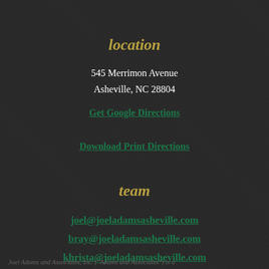location
545 Merrimon Avenue
Asheville, NC 28804
Get Google Directions
Download Print Directions
team
joel@joeladamsasheville.com
bray@joeladamsasheville.com
khrista@joeladamsasheville.com
Joel Adams and Associates, Inc. ("Adams and Associates") is a